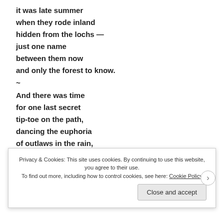it was late summer
when they rode inland
hidden from the lochs —
just one name
between them now
and only the forest to know.
~
And there was time
for one last secret
tip-toe on the path,
dancing the euphoria
of outlaws in the rain,
Privacy & Cookies: This site uses cookies. By continuing to use this website, you agree to their use. To find out more, including how to control cookies, see here: Cookie Policy